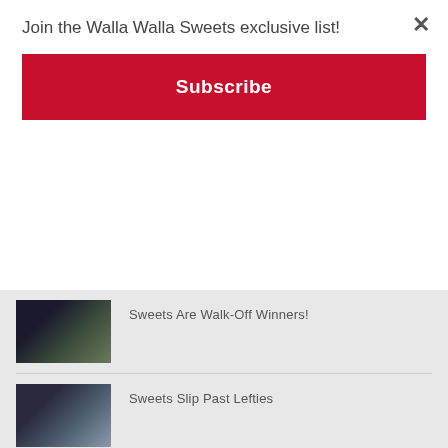Join the Walla Walla Sweets exclusive list!
Subscribe
[Figure (photo): Baseball players celebrating on field]
Sweets Are Walk-Off Winners!
[Figure (photo): Baseball players gathered on field in white uniforms]
Sweets Slip Past Lefties
[Figure (photo): Baseball players celebrating in dugout at night]
Sweets More Kosher Than Pickles
[Figure (photo): Baseball pitcher on mound with red uniform]
Pickles Relish in Win Over Sweets
[Figure (photo): Baseball game action shot]
Sweets Take First Bite out of Pickles